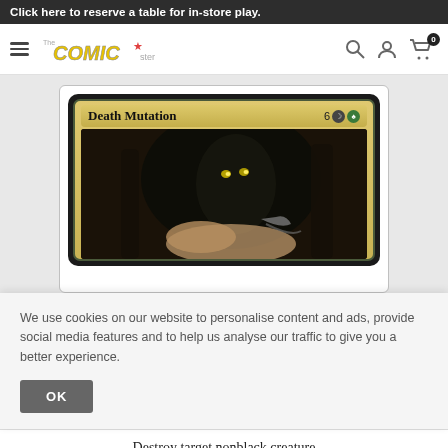Click here to reserve a table for in-store play.
[Figure (screenshot): Comic store website navigation bar with hamburger menu, The Comic Star logo, search icon, account icon, and cart icon with badge showing 0]
[Figure (photo): Magic: The Gathering card named 'Death Mutation' with mana cost 6 black green, showing dark fantasy art of a creature in a forest]
We use cookies on our website to personalise content and ads, provide social media features and to help us analyse our traffic to give you a better experience.
OK
Destroy target nonblack creature